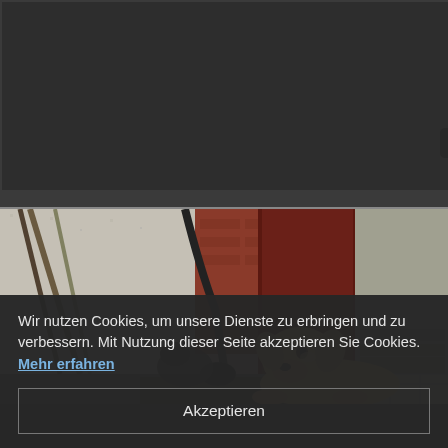[Figure (screenshot): Dark video player thumbnail area with a YouTube-style play button in the lower right]
[Figure (photo): Photo of a dog (light golden retriever puppy) lying near a dark red door entrance, with a cat curled up nearby, brooms leaning against a wall, and stone steps visible on the right]
Wir nutzen Cookies, um unsere Dienste zu erbringen und zu verbessern. Mit Nutzung dieser Seite akzeptieren Sie Cookies. Mehr erfahren
Akzeptieren